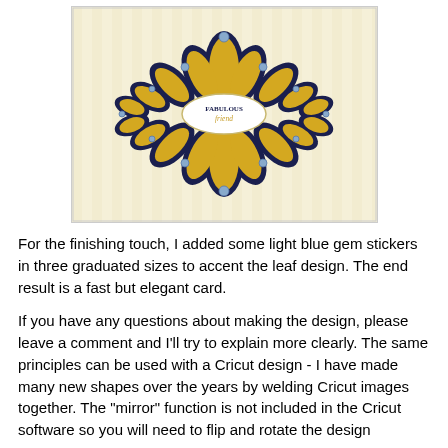[Figure (photo): A decorative handmade greeting card with a black and gold/yellow leaf and floral design symmetrically arranged, with an oval label in the center reading 'FABULOUS friend', and light blue gem stickers accenting the design. The card has a light cream/yellow striped background.]
For the finishing touch, I added some light blue gem stickers in three graduated sizes to accent the leaf design.  The end result is a fast but elegant card.
If you have any questions about making the design, please leave a comment and I'll try to explain more clearly.  The same principles can be used with a Cricut design - I have made many new shapes over the years by welding Cricut images together.  The "mirror" function is not included in the Cricut software so you will need to flip and rotate the design